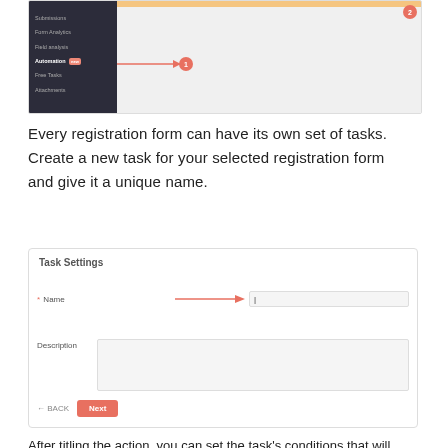[Figure (screenshot): Screenshot of a web application showing a navigation sidebar with items including Submissions, Form Analytics, Field analysis, Automation (highlighted with 'new' badge and arrow pointing to it with circle badge 1), Free Tasks, Attachments. Right side shows a light gray panel with an orange top bar and circle badge 2 in top right corner.]
Every registration form can have its own set of tasks. Create a new task for your selected registration form and give it a unique name.
[Figure (screenshot): Task Settings form card with Name field (required, with red arrow pointing to input box) and Description textarea, plus BACK and Next buttons at the bottom.]
After titling the action, you can set the task's conditions that will